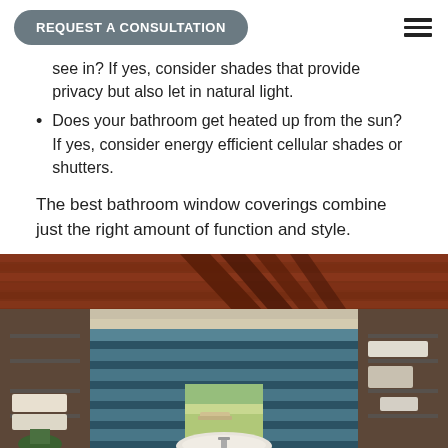REQUEST A CONSULTATION
see in? If yes, consider shades that provide privacy but also let in natural light.
Does your bathroom get heated up from the sun? If yes, consider energy efficient cellular shades or shutters.
The best bathroom window coverings combine just the right amount of function and style.
[Figure (photo): Bathroom interior with blue/teal horizontal banded window shades, wooden ceiling with exposed beams, open shelving on both sides, freestanding bathtub, and a view of outdoor patio through large windows.]